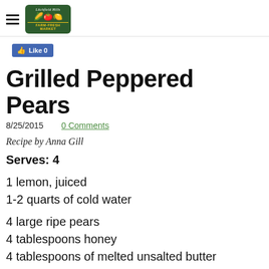Litchfield Hills Farm-Fresh Market
Grilled Peppered Pears
8/25/2015    0 Comments
Recipe by Anna Gill
Serves: 4
1 lemon, juiced
1-2 quarts of cold water
4 large ripe pears
4 tablespoons honey
4 tablespoons of melted unsalted butter